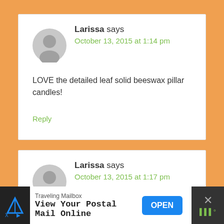Larissa says
October 13, 2015 at 1:14 pm
LOVE the detailed leaf solid beeswax pillar candles!
Reply
Larissa says
October 13, 2015 at 1:17 pm
Traveling Mailbox
View Your Postal Mail Online
OPEN